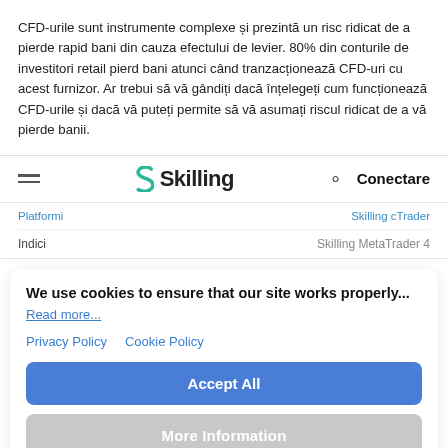CFD-urile sunt instrumente complexe și prezintă un risc ridicat de a pierde rapid bani din cauza efectului de levier. 80% din conturile de investitori retail pierd bani atunci când tranzacționează CFD-uri cu acest furnizor. Ar trebui să vă gândiți dacă înțelegeți cum funcționează CFD-urile și dacă vă puteți permite să vă asumați riscul ridicat de a vă pierde banii.
[Figure (screenshot): Skilling navigation bar with hamburger menu, Skilling logo, search icon, and Conectare button]
Platformi | Skilling cTrader
Indici | Skilling MetaTrader 4
We use cookies to ensure that our site works properly...
Read more...
Privacy Policy   Cookie Policy
Accept All
More Information
Powered by Usercentrics Consent Management